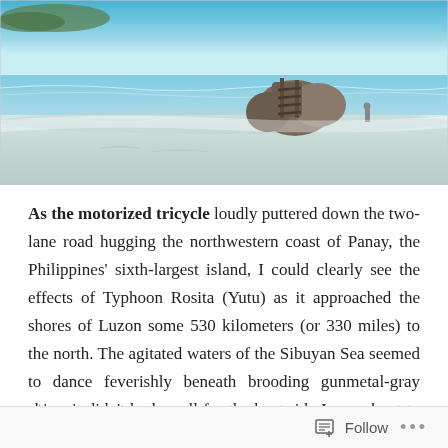[Figure (photo): Beach photo showing a tropical shoreline with rocky formation in the center that has wooden stairs, white sandy beach, turquoise/blue water, and a person visible near the rocks.]
As the motorized tricycle loudly puttered down the two-lane road hugging the northwestern coast of Panay, the Philippines' sixth-largest island, I could clearly see the effects of Typhoon Rosita (Yutu) as it approached the shores of Luzon some 530 kilometers (or 330 miles) to the north. The agitated waters of the Sibuyan Sea seemed to dance feverishly beneath brooding gunmetal-gray skies; it didn't bode well for the boat ride I was about to take across the narrow strait to tiny Boracay. Continue reading →